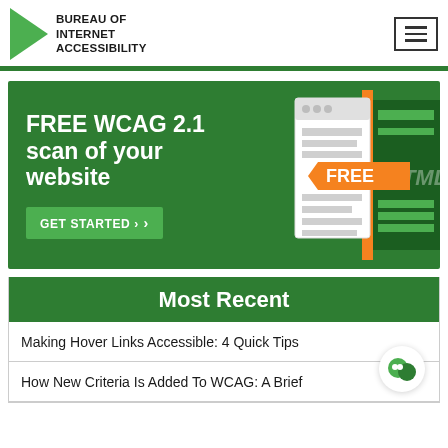[Figure (logo): Bureau of Internet Accessibility logo with green triangle and bold text]
[Figure (infographic): Free WCAG 2.1 scan of your website banner ad with browser illustration and orange FREE ribbon and GET STARTED button]
Most Recent
Making Hover Links Accessible: 4 Quick Tips
How New Criteria Is Added To WCAG: A Brief